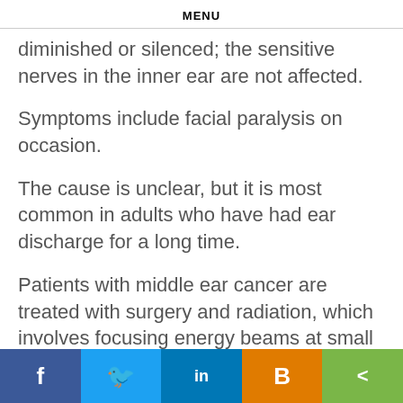MENU
diminished or silenced; the sensitive nerves in the inner ear are not affected.
Symptoms include facial paralysis on occasion.
The cause is unclear, but it is most common in adults who have had ear discharge for a long time.
Patients with middle ear cancer are treated with surgery and radiation, which involves focusing energy beams at small areas of cancer cells that surgeons may not have removed during surgery. Otosclerosis is a buildup of spongy or bony ti…